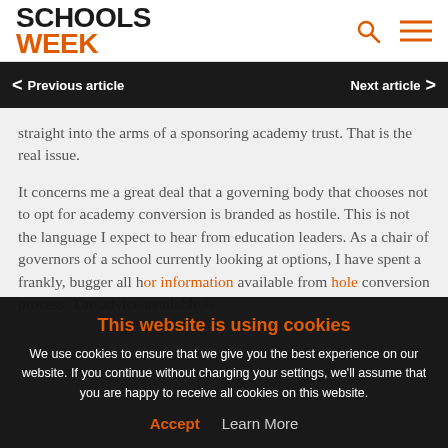SCHOOLS WEEK
Previous article   Next article
straight into the arms of a sponsoring academy trust. That is the real issue.

It concerns me a great deal that a governing body that chooses not to opt for academy conversion is branded as hostile. This is not the language I expect to hear from education leaders. As a chair of governors of a school currently looking at options, I have spent a frankly, bugger all h... or information available from ... hole conversion process. The advice available is
This website is using cookies
We use cookies to ensure that we give you the best experience on our website. If you continue without changing your settings, we'll assume that you are happy to receive all cookies on this website.
Accept   Learn More